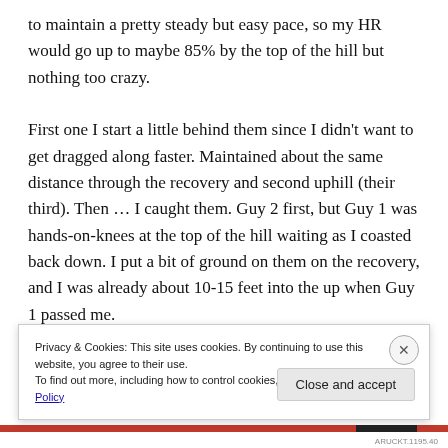to maintain a pretty steady but easy pace, so my HR would go up to maybe 85% by the top of the hill but nothing too crazy.

First one I start a little behind them since I didn't want to get dragged along faster. Maintained about the same distance through the recovery and second uphill (their third). Then … I caught them. Guy 2 first, but Guy 1 was hands-on-knees at the top of the hill waiting as I coasted back down. I put a bit of ground on them on the recovery, and I was already about 10-15 feet into the up when Guy 1 passed me.
Privacy & Cookies: This site uses cookies. By continuing to use this website, you agree to their use.
To find out more, including how to control cookies, see here: Cookie Policy
Close and accept
ARUCKT.1195.40